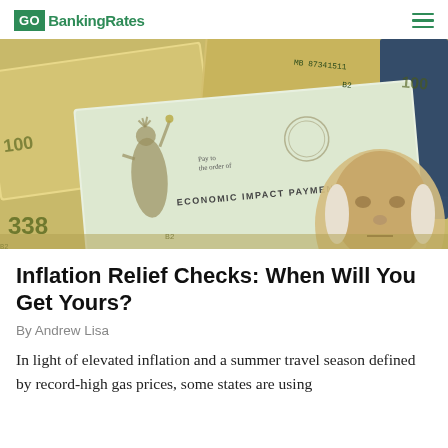GOBankingRates
[Figure (photo): Economic Impact Payment check overlapping with $100 US dollar bills, featuring Statue of Liberty on the check and Benjamin Franklin on the currency]
Inflation Relief Checks: When Will You Get Yours?
By Andrew Lisa
In light of elevated inflation and a summer travel season defined by record-high gas prices, some states are using